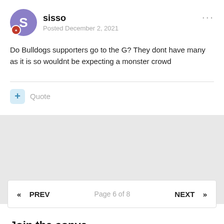sisso
Posted December 2, 2021
Do Bulldogs supporters go to the G? They dont have many as it is so wouldnt be expecting a monster crowd
Quote
« PREV   Page 6 of 8   NEXT »
Join the conversation